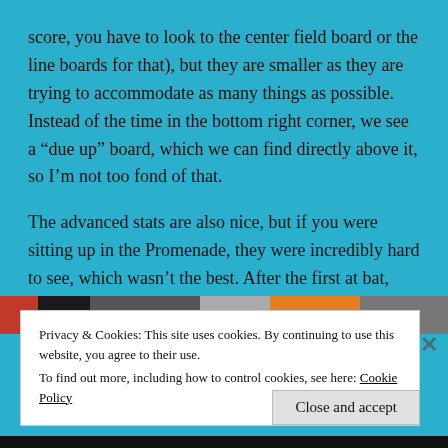score, you have to look to the center field board or the line boards for that), but they are smaller as they are trying to accommodate as many things as possible. Instead of the time in the bottom right corner, we see a “due up” board, which we can find directly above it, so I’m not too fond of that.
The advanced stats are also nice, but if you were sitting up in the Promenade, they were incredibly hard to see, which wasn’t the best. After the first at bat, however, the board’s advanced metrics became much more useful.
[Figure (screenshot): A partial screenshot of a webpage showing a colorful image strip with website branding including liu.edu]
Privacy & Cookies: This site uses cookies. By continuing to use this website, you agree to their use.
To find out more, including how to control cookies, see here: Cookie Policy
Close and accept